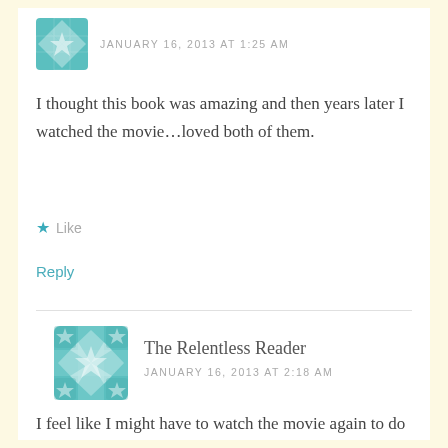JANUARY 16, 2013 AT 1:25 AM
I thought this book was amazing and then years later I watched the movie...loved both of them.
Like
Reply
The Relentless Reader
JANUARY 16, 2013 AT 2:18 AM
I feel like I might have to watch the movie again to do some comparing. Yes, if my review points out nothing else I hope that people will take our advice and read the book first!